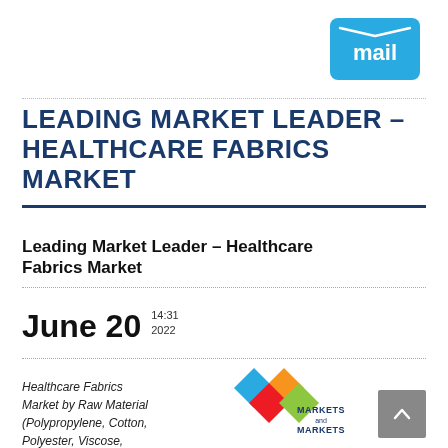[Figure (logo): Mail.ru blue envelope logo icon with 'mail' text in white on teal/blue background]
LEADING MARKET LEADER – HEALTHCARE FABRICS MARKET
Leading Market Leader – Healthcare Fabrics Market
June 20  14:31  2022
Healthcare Fabrics Market by Raw Material (Polypropylene, Cotton, Polyester, Viscose,
[Figure (logo): MarketsandMarkets logo with four colored diamond shapes (blue, gold, red, green) arranged in a 2x2 grid, with 'MARKETSandMARKETS' text below]